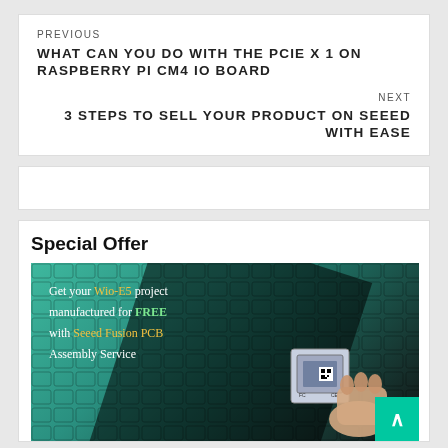PREVIOUS
WHAT CAN YOU DO WITH THE PCIE X 1 ON RASPBERRY PI CM4 IO BOARD
NEXT
3 STEPS TO SELL YOUR PRODUCT ON SEEED WITH EASE
Special Offer
[Figure (photo): Advertisement banner for Seeed Fusion PCB Assembly Service. Green teal background with keyboard texture. Text reads: Get your Wio-E5 project manufactured for FREE with Seeed Fusion PCB Assembly Service. A hand holding a small PCB chip (Wio-E5) is shown in the bottom right. A teal scroll-to-top button with an upward arrow is in the corner.]